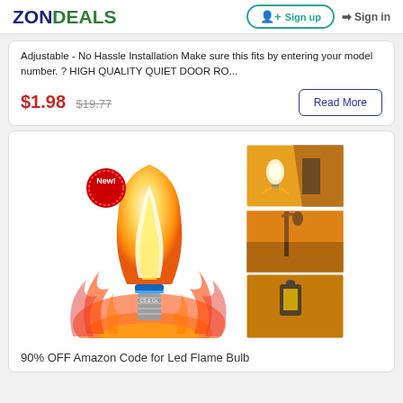ZONDEALS  Sign up  Sign in
Adjustable - No Hassle Installation Make sure this fits by entering your model number. ? HIGH QUALITY QUIET DOOR RO...
$1.98  $19.77
[Figure (photo): Product image of CS & Co LED flame bulb with fire-like effect, with 'New!' badge, shown alongside three smaller photos of the bulb in use in various outdoor/indoor settings.]
90% OFF Amazon Code for Led Flame Bulb